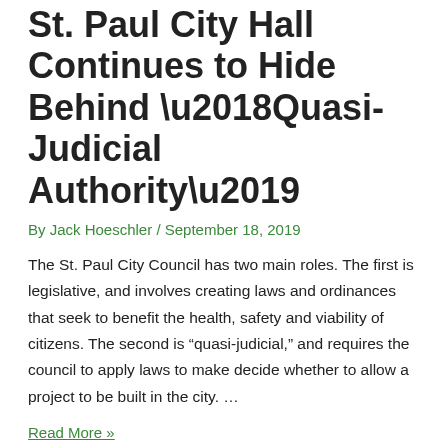St. Paul City Hall Continues to Hide Behind ‘Quasi-Judicial Authority’
By Jack Hoeschler / September 18, 2019
The St. Paul City Council has two main roles. The first is legislative, and involves creating laws and ordinances that seek to benefit the health, safety and viability of citizens. The second is “quasi-judicial,” and requires the council to apply laws to make decide whether to allow a project to be built in the city. …
Read More »
City Hall needs to learn from